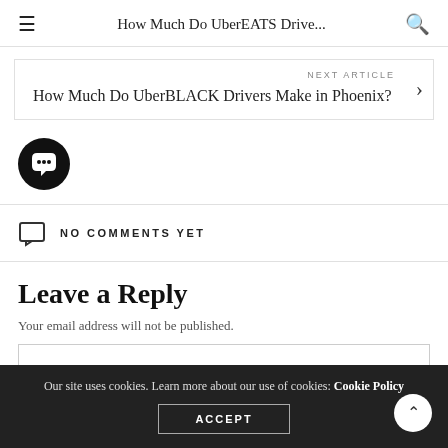How Much Do UberEATS Drive...
NEXT ARTICLE
How Much Do UberBLACK Drivers Make in Phoenix?
[Figure (illustration): Black circular comment/chat bubble icon with three dots inside]
NO COMMENTS YET
Leave a Reply
Your email address will not be published.
Our site uses cookies. Learn more about our use of cookies: Cookie Policy
ACCEPT